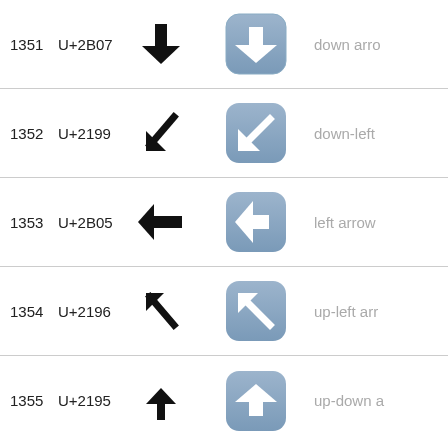| # | Code | Symbol | Emoji | Description |
| --- | --- | --- | --- | --- |
| 1351 | U+2B07 | ⬇ | ⬇️ | down arro |
| 1352 | U+2199 | ↙ | ↙️ | down-left |
| 1353 | U+2B05 | ⬅ | ⬅️ | left arrow |
| 1354 | U+2196 | ↖ | ↖️ | up-left arr |
| 1355 | U+2195 | ↕ | ↕️ | up-down a |